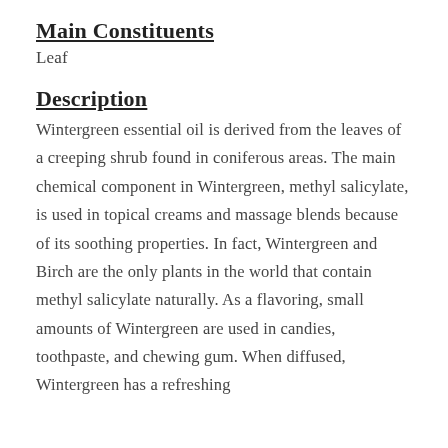Main Constituents
Leaf
Description
Wintergreen essential oil is derived from the leaves of a creeping shrub found in coniferous areas. The main chemical component in Wintergreen, methyl salicylate, is used in topical creams and massage blends because of its soothing properties. In fact, Wintergreen and Birch are the only plants in the world that contain methyl salicylate naturally. As a flavoring, small amounts of Wintergreen are used in candies, toothpaste, and chewing gum. When diffused, Wintergreen has a refreshing